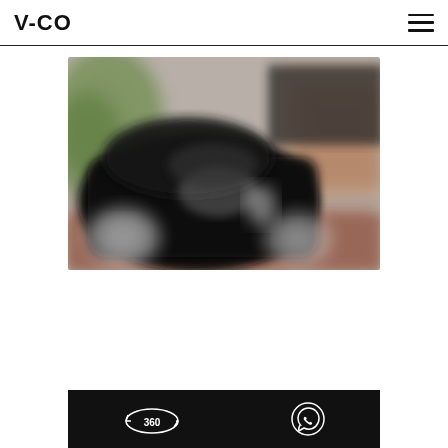V-CO [hamburger menu icon]
[Figure (photo): Blurry photo of a dark/black vehicle parked on a brick street with buildings in the background, shot from a low angle]
[Figure (other): Black bottom bar with a 360-degree icon on the left and a WhatsApp icon on the right]